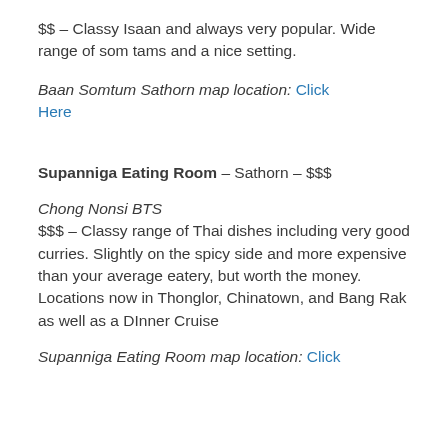$$ – Classy Isaan and always very popular. Wide range of som tams and a nice setting.
Baan Somtum Sathorn map location: Click Here
Supanniga Eating Room – Sathorn – $$$
Chong Nonsi BTS
$$$ – Classy range of Thai dishes including very good curries. Slightly on the spicy side and more expensive than your average eatery, but worth the money. Locations now in Thonglor, Chinatown, and Bang Rak as well as a DInner Cruise
Supanniga Eating Room map location: Click